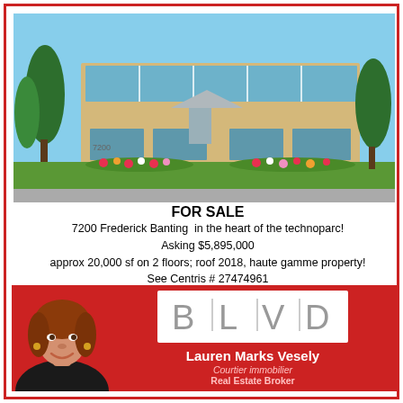[Figure (photo): Exterior photo of a two-story commercial office building with yellow brick facade, large blue-tinted windows, landscaped entrance with flowers and green lawn, clear blue sky background.]
FOR SALE
7200 Frederick Banting  in the heart of the technoparc!
Asking $5,895,000
approx 20,000 sf on 2 floors; roof 2018, haute gamme property!
See Centris # 27474961
2 EV stations,Gym, showers,cafeteria, many offices and meeting rooms!
[Figure (photo): Headshot of Lauren Marks Vesely, a woman with reddish-brown hair, smiling, wearing a dark blazer.]
[Figure (logo): BLVD real estate logo — letters B, L, V, D separated by vertical lines on a white background.]
Lauren Marks Vesely
Courtier immobilier
Real Estate Broker